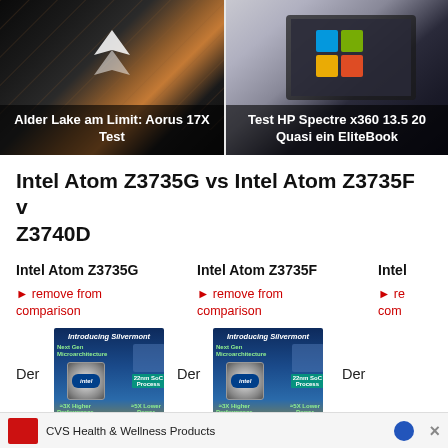[Figure (photo): Laptop with dark geometric background and Aorus branding, overlay text: Alder Lake am Limit: Aorus 17X Test]
Alder Lake am Limit: Aorus 17X Test
[Figure (photo): HP Spectre x360 13.5 laptop with Windows 11 on screen, overlay text: Test HP Spectre x360 13.5 20 Quasi ein EliteBook]
Test HP Spectre x360 13.5 20 Quasi ein EliteBook
Intel Atom Z3735G vs Intel Atom Z3735F v Z3740D
Intel Atom Z3735G
Intel Atom Z3735F
Intel
► remove from comparison
► remove from comparison
► re com
[Figure (illustration): Introducing Silvermont - Next Gen Microarchitecture, 22nm SoC Process, 3X Higher Performance, 5X Lower Power]
[Figure (illustration): Introducing Silvermont - Next Gen Microarchitecture, 22nm SoC Process, 3X Higher Performance, 5X Lower Power]
Der
Der
Der
CVS Health & Wellness Products